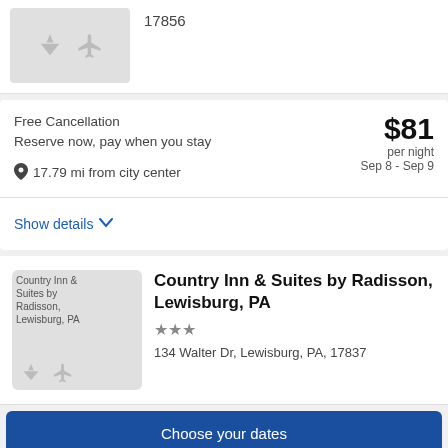[Figure (screenshot): Placeholder hotel thumbnail with diamond and airplane icons, showing postal code 17856]
17856
Free Cancellation
Reserve now, pay when you stay
$81 per night
Sep 8 - Sep 9
17.79 mi from city center
Show details
[Figure (photo): Country Inn & Suites by Radisson, Lewisburg, PA hotel thumbnail placeholder]
Country Inn & Suites by Radisson, Lewisburg, PA
★★★
134 Walter Dr, Lewisburg, PA, 17837
Choose your dates